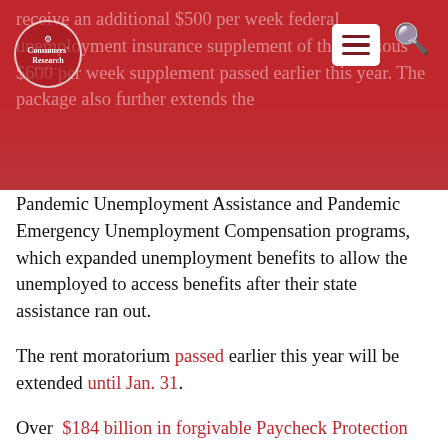receive an additional $500 per week federal unemployment insurance supplement of the previous $600 per week supplement passed earlier this year. The package also further extends the
Pandemic Unemployment Assistance and Pandemic Emergency Unemployment Compensation programs, which expanded unemployment benefits to allow the unemployed to access benefits after their state assistance ran out.
The rent moratorium passed earlier this year will be extended until Jan. 31.
Over $184 billion in forgivable Paycheck Protection Program (PPP) loans will be provided to businesses seeking a second round of funding. The legislation also sets aside $20 billion in grants for companies based in low-income areas and community-based and minority lenders.
Meanwhile, $45 billion has been allocated to...